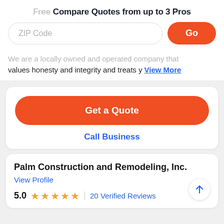Free Compare Quotes from up to 3 Pros
ZIP Code [input] Go [button]
We are a locally owned and operated company that values honesty and integrity and treats y… View More
Get a Quote
Call Business
Palm Construction and Remodeling, Inc.
View Profile
5.0 ★★★★★ | 20 Verified Reviews